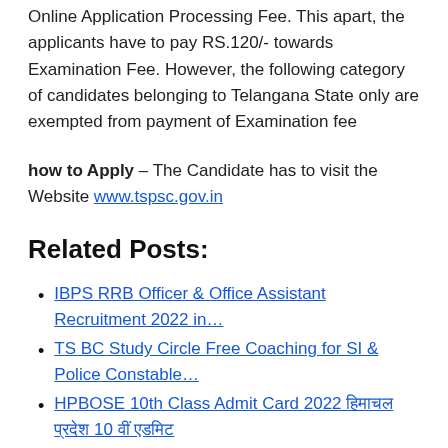Online Application Processing Fee. This apart, the applicants have to pay RS.120/- towards Examination Fee. However, the following category of candidates belonging to Telangana State only are exempted from payment of Examination fee
how to Apply – The Candidate has to visit the Website www.tspsc.gov.in
Related Posts:
IBPS RRB Officer & Office Assistant Recruitment 2022 in…
TS BC Study Circle Free Coaching for SI & Police Constable…
HPBOSE 10th Class Admit Card 2022 हिमाचल प्रदेश 10 वीं एडमिट